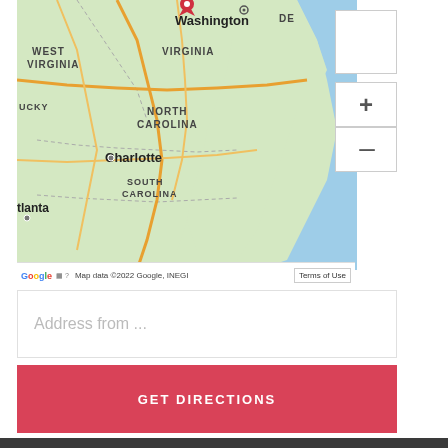[Figure (map): Google Maps screenshot showing the US East Coast region including Washington DC, Virginia, West Virginia, North Carolina (Charlotte), South Carolina, and Atlanta area. Has a red location pin near Washington DC area, zoom controls on right side, and Google attribution at bottom.]
Address from ...
GET DIRECTIONS
Copyright 2018 - 2022 Cycling Virginia | All Rights Reserved | Site designed by Arcphor